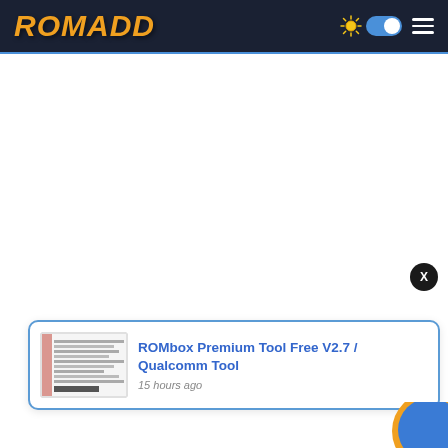ROMADD
[Figure (screenshot): Thumbnail screenshot of ROMbox Premium Tool software interface]
ROMbox Premium Tool Free V2.7 / Qualcomm Tool
15 hours ago